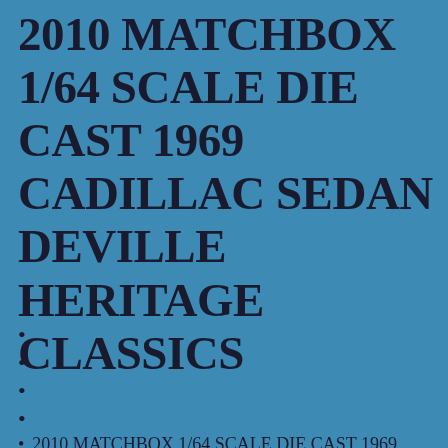2010 MATCHBOX 1/64 SCALE DIE CAST 1969 CADILLAC SEDAN DEVILLE HERITAGE CLASSICS
2010 MATCHBOX 1/64 SCALE DIE CAST 1969 CADILLAC SEDAN DEVILLE HERITAGE CLASSICS